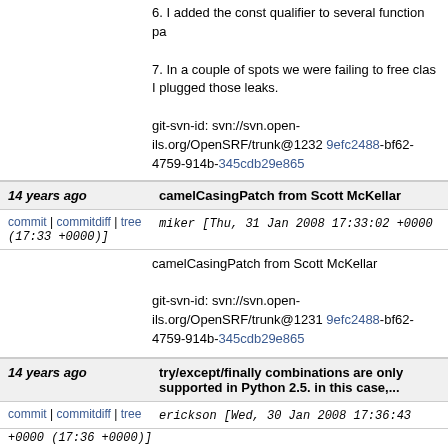6. I added the const qualifier to several function pa
7. In a couple of spots we were failing to free clas I plugged those leaks.
git-svn-id: svn://svn.open-ils.org/OpenSRF/trunk@1232 9efc2488-bf62-4759-914b-345cdb29e865
14 years ago   camelCasingPatch from Scott McKellar
commit | commitdiff | tree   miker [Thu, 31 Jan 2008 17:33:02 +0000 (17:33 +0000)]
camelCasingPatch from Scott McKellar
git-svn-id: svn://svn.open-ils.org/OpenSRF/trunk@1231 9efc2488-bf62-4759-914b-345cdb29e865
14 years ago   try/except/finally combinations are only supported in Python 2.5. in this case,...
commit | commitdiff | tree   erickson [Wed, 30 Jan 2008 17:36:43 +0000 (17:36 +0000)]
try/except/finally combinations are only supported